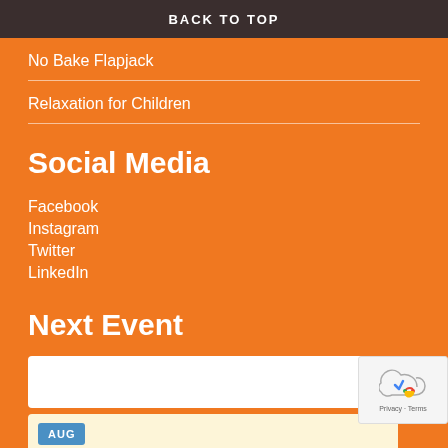BACK TO TOP
No Bake Flapjack
Relaxation for Children
Social Media
Facebook
Instagram
Twitter
LinkedIn
Next Event